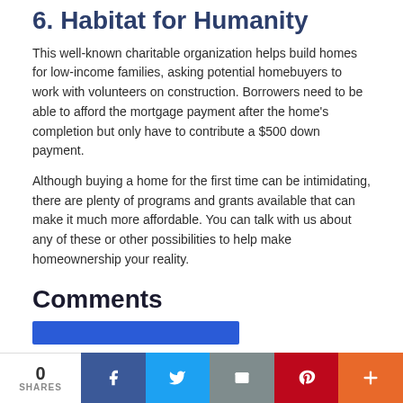6. Habitat for Humanity
This well-known charitable organization helps build homes for low-income families, asking potential homebuyers to work with volunteers on construction. Borrowers need to be able to afford the mortgage payment after the home's completion but only have to contribute a $500 down payment.
Although buying a home for the first time can be intimidating, there are plenty of programs and grants available that can make it much more affordable. You can talk with us about any of these or other possibilities to help make homeownership your reality.
Comments